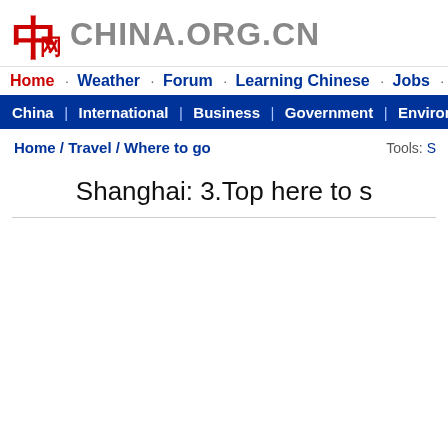[Figure (logo): China.org.cn logo with red Chinese character icon and gray CHINA.ORG.CN text]
Home · Weather · Forum · Learning Chinese · Jobs · Hotel · Flights
China | International | Business | Government | Environment | Sports
Home / Travel / Where to go    Tools: S
Shanghai: 3.Top here to s